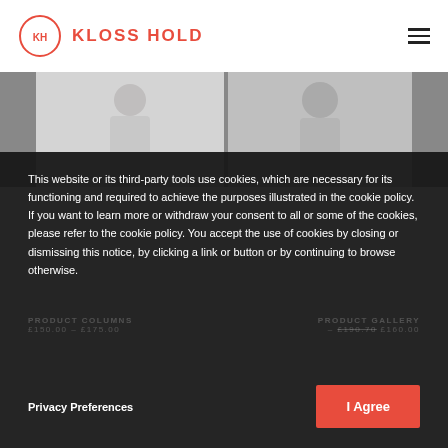[Figure (logo): Kloss Hold logo: red circle with KH initials and KLOSS HOLD text in red]
[Figure (photo): Two product/fashion photos of women, grayscale, partially visible behind cookie overlay]
This website or its third-party tools use cookies, which are necessary for its functioning and required to achieve the purposes illustrated in the cookie policy. If you want to learn more or withdraw your consent to all or some of the cookies, please refer to the cookie policy. You accept the use of cookies by closing or dismissing this notice, by clicking a link or button or by continuing to browse otherwise.
PRODUCT COLUMNS
£150.00 – £175.00
PRODUCT GALLERY
– £190.70 £160.00
Privacy Preferences
I Agree